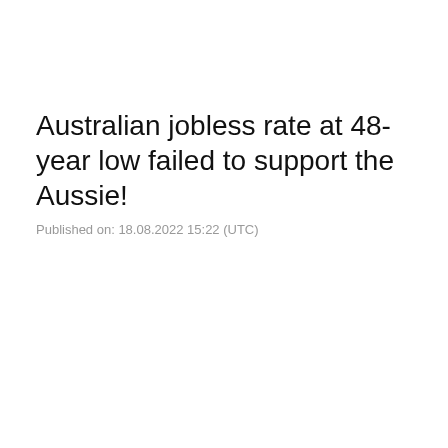Australian jobless rate at 48-year low failed to support the Aussie!
Published on: 18.08.2022 15:22 (UTC)